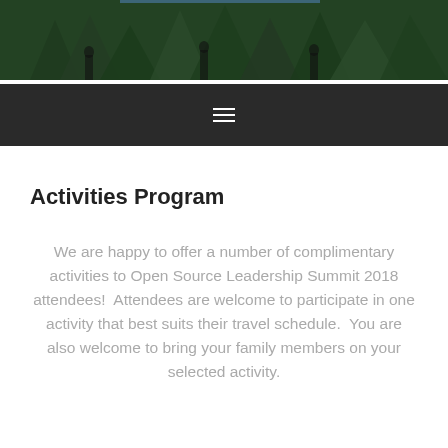[Figure (photo): Dark green forest/nature themed banner image at the top of the page with silhouettes of people and trees]
☰
Activities Program
We are happy to offer a number of complimentary activities to Open Source Leadership Summit 2018 attendees!  Attendees are welcome to participate in one activity that best suits their travel schedule.  You are also welcome to bring your family members on your selected activity.